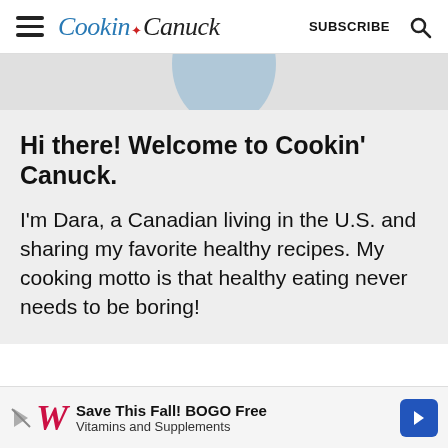Cookin' Canuck  SUBSCRIBE
[Figure (photo): Partially visible circular profile photo at top of about card, cropped at top of page]
Hi there! Welcome to Cookin' Canuck.
I'm Dara, a Canadian living in the U.S. and sharing my favorite healthy recipes. My cooking motto is that healthy eating never needs to be boring!
[Figure (infographic): Walgreens advertisement banner: Save This Fall! BOGO Free Vitamins and Supplements]